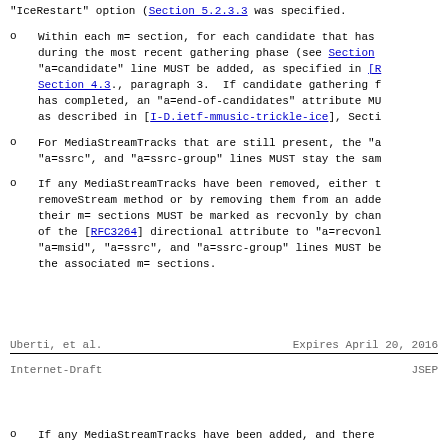"IceRestart" option (Section 5.2.3.3 was specified.
Within each m= section, for each candidate that has during the most recent gathering phase (see Section "a=candidate" line MUST be added, as specified in [R Section 4.3., paragraph 3. If candidate gathering f has completed, an "a=end-of-candidates" attribute MU as described in [I-D.ietf-mmusic-trickle-ice], Secti
For MediaStreamTracks that are still present, the "a "a=ssrc", and "a=ssrc-group" lines MUST stay the sam
If any MediaStreamTracks have been removed, either t removeStream method or by removing them from an adde their m= sections MUST be marked as recvonly by chan of the [RFC3264] directional attribute to "a=recvonl "a=msid", "a=ssrc", and "a=ssrc-group" lines MUST be the associated m= sections.
Uberti, et al.             Expires April 20, 2016
Internet-Draft                        JSEP
If any MediaStreamTracks have been added, and there